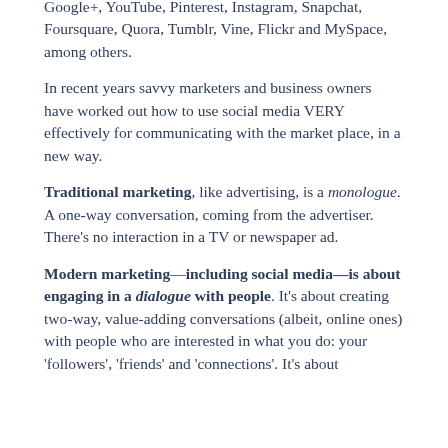Google+, YouTube, Pinterest, Instagram, Snapchat, Foursquare, Quora, Tumblr, Vine, Flickr and MySpace, among others.
In recent years savvy marketers and business owners have worked out how to use social media VERY effectively for communicating with the market place, in a new way.
Traditional marketing, like advertising, is a monologue. A one-way conversation, coming from the advertiser. There's no interaction in a TV or newspaper ad.
Modern marketing—including social media—is about engaging in a dialogue with people. It's about creating two-way, value-adding conversations (albeit, online ones) with people who are interested in what you do: your 'followers', 'friends' and 'connections'. It's about